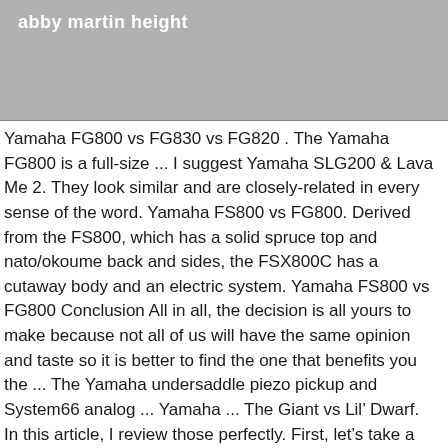[Figure (photo): Gray banner/header image area with light gray background]
abby martin height
Yamaha FG800 vs FG830 vs FG820 . The Yamaha FG800 is a full-size ... I suggest Yamaha SLG200 & Lava Me 2. They look similar and are closely-related in every sense of the word. Yamaha FS800 vs FG800. Derived from the FS800, which has a solid spruce top and nato/okoume back and sides, the FSX800C has a cutaway body and an electric system. Yamaha FS800 vs FG800 Conclusion All in all, the decision is all yours to make because not all of us will have the same opinion and taste so it is better to find the one that benefits you the ... The Yamaha undersaddle piezo pickup and System66 analog ... Yamaha ... The Giant vs Lil' Dwarf. In this article, I review those perfectly. First, let’s take a closer look at the Yamaha FG800: This big guy consists of a solid sitka spruce top,